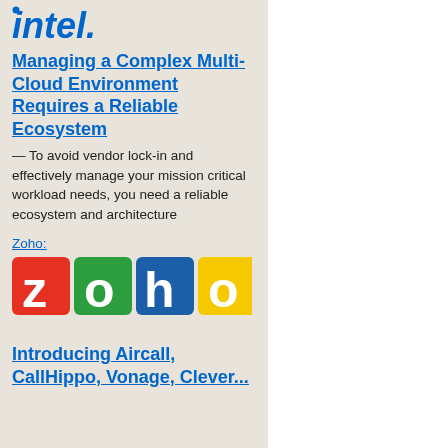[Figure (logo): Intel logo in blue with registered trademark symbol]
Managing a Complex Multi-Cloud Environment Requires a Reliable Ecosystem
— To avoid vendor lock-in and effectively manage your mission critical workload needs, you need a reliable ecosystem and architecture
Zoho:
[Figure (logo): Zoho logo — colorful block letters Z O H O in red, green, teal/blue, and yellow squares]
Introducing Aircall, CallHippo, Vonage, Clever...